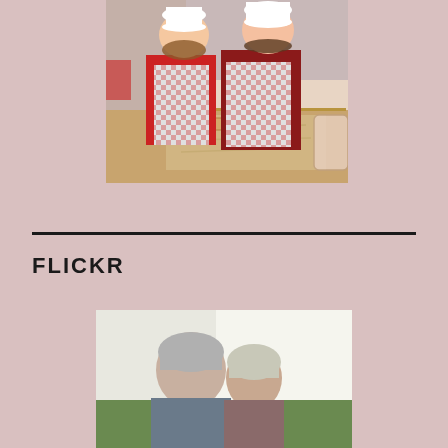[Figure (photo): Two children wearing white chef hats and red checkered aprons, rolling dough on a wooden surface covered in flour in a kitchen setting.]
FLICKR
[Figure (photo): An elderly couple seen from behind or side, outdoors with a bright background.]